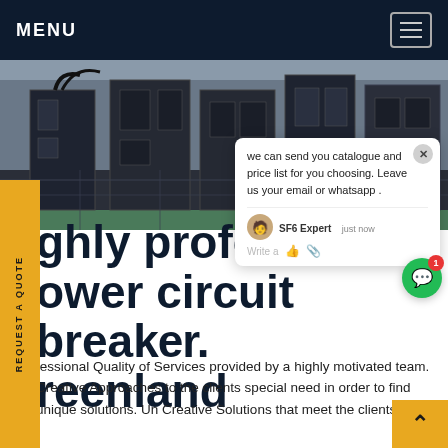MENU
[Figure (photo): Industrial electrical equipment / circuit breakers on rooftop or facility floor with green flooring]
REQUEST A QUOTE
we can send you catalogue and price list for you choosing. Leave us your email or whatsapp .
SF6 Expert   just now
Write a
ghly professional power circuit breaker. reenland
fessional Quality of Services provided by a highly motivated team. Creative Approaches to the clients special need in order to find unique solutions. Un Creative Solutions that meet the clients